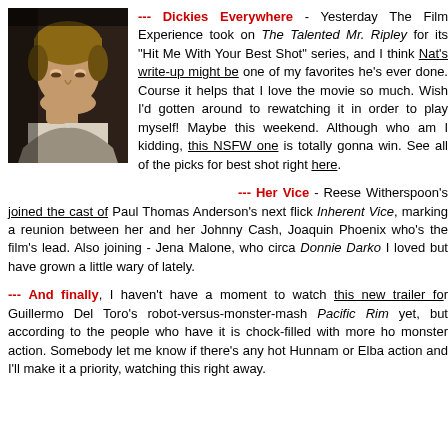[Figure (photo): Photo of a young man with light brown hair looking downward, wearing a light-colored shirt, dark moody background]
--- Dickies Everywhere - Yesterday The Film Experience took on The Talented Mr. Ripley for its "Hit Me With Your Best Shot" series, and I think Nat's write-up might be one of my favorites he's ever done. Course it helps that I love the movie so much. Wish I'd gotten around to rewatching it in order to play myself! Maybe this weekend. Although who am I kidding, this NSFW one is totally gonna win. See all of the picks for best shot right here.
--- Her Vice - Reese Witherspoon's joined the cast of Paul Thomas Anderson's next flick Inherent Vice, marking a reunion between her and her Johnny Cash, Joaquin Phoenix who's the film's lead. Also joining - Jena Malone, who circa Donnie Darko I loved but have grown a little wary of lately.
--- And finally, I haven't have a moment to watch this new trailer for Guillermo Del Toro's robot-versus-monster-mash Pacific Rim yet, but according to the people who have it is chock-filled with more hot monster action. Somebody let me know if there's any hot Hunnam or Elba action and I'll make it a priority, watching this right away.